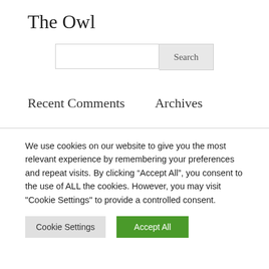The Owl
Recent Comments
Archives
We use cookies on our website to give you the most relevant experience by remembering your preferences and repeat visits. By clicking “Accept All”, you consent to the use of ALL the cookies. However, you may visit "Cookie Settings" to provide a controlled consent.
Cookie Settings | Accept All